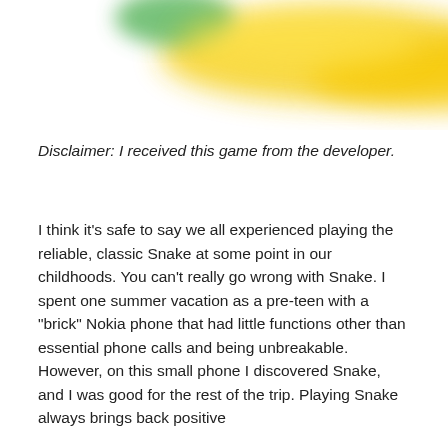[Figure (illustration): Partial image at the top of the page showing blurred green and yellow shapes, likely part of a game or product logo (Snake game themed imagery).]
Disclaimer: I received this game from the developer.
I think it's safe to say we all experienced playing the reliable, classic Snake at some point in our childhoods. You can't really go wrong with Snake. I spent one summer vacation as a pre-teen with a "brick" Nokia phone that had little functions other than essential phone calls and being unbreakable. However, on this small phone I discovered Snake, and I was good for the rest of the trip. Playing Snake always brings back positive